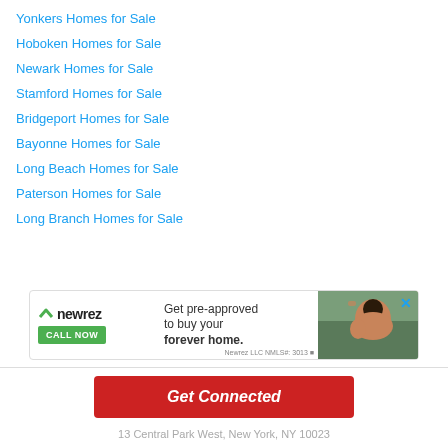Yonkers Homes for Sale
Hoboken Homes for Sale
Newark Homes for Sale
Stamford Homes for Sale
Bridgeport Homes for Sale
Bayonne Homes for Sale
Long Beach Homes for Sale
Paterson Homes for Sale
Long Branch Homes for Sale
[Figure (infographic): Newrez mortgage advertisement with logo, CALL NOW button, 'Get pre-approved to buy your forever home.' text, photo of smiling woman with child, and equal housing lender logo. Newrez LLC NMLS#: 3013]
Get Connected
13 Central Park West, New York, NY 10023